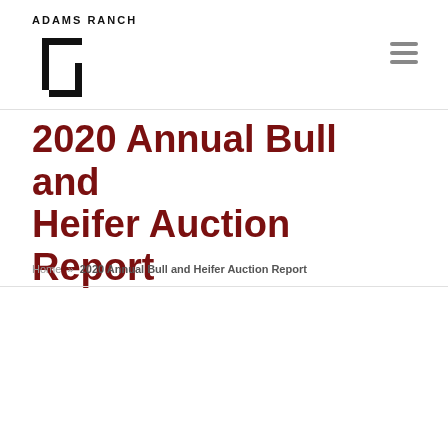Adams Ranch
2020 Annual Bull and Heifer Auction Report
Home » 2020 Annual Bull and Heifer Auction Report